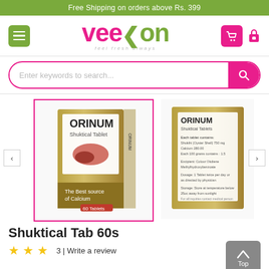Free Shipping on orders above Rs. 399
[Figure (logo): Veeon logo with tagline 'feel fresh always' — pink and green brand colors]
Enter keywords to search...
[Figure (photo): ORINUM Shuktical Tablet product box — olive/gold colored box with product imagery and text 'The Best source of Calcium, 60 Tablets']
[Figure (photo): ORINUM Shuktical Tablets product back label with ingredient and dosage details]
Shuktical Tab 60s
3 | Write a review